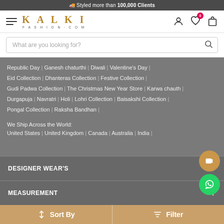🚚 Styled more than 100,000 Clients
[Figure (screenshot): Kalki Fashion website header with hamburger menu, logo, user/wishlist/cart icons and search bar]
Republic Day | Ganesh chaturthi | Diwali | Valentine's Day | Eid Collection | Dhanteras Collection | Festive Collection | Gudi Padwa Collection | The Christmas New Year Store | Karwa chauth | Durgapuja | Navratri | Holi | Lohri Collection | Baisakshi Collection | Pongal Collection | Raksha Bandhan
We Ship Across the World:
United States | United Kingdom | Canada | Australia | India
DESIGNER WEAR'S
MEASUREMENT
Sort By
Filter